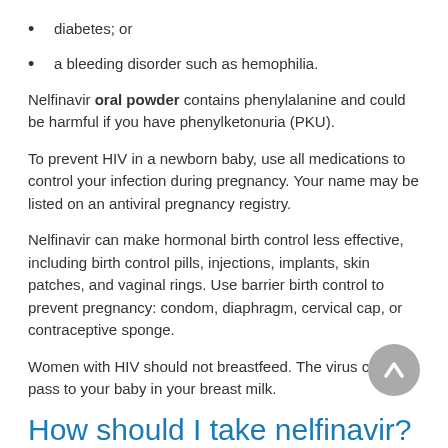diabetes; or
a bleeding disorder such as hemophilia.
Nelfinavir oral powder contains phenylalanine and could be harmful if you have phenylketonuria (PKU).
To prevent HIV in a newborn baby, use all medications to control your infection during pregnancy. Your name may be listed on an antiviral pregnancy registry.
Nelfinavir can make hormonal birth control less effective, including birth control pills, injections, implants, skin patches, and vaginal rings. Use barrier birth control to prevent pregnancy: condom, diaphragm, cervical cap, or contraceptive sponge.
Women with HIV should not breastfeed. The virus can pass to your baby in your breast milk.
How should I take nelfinavir?